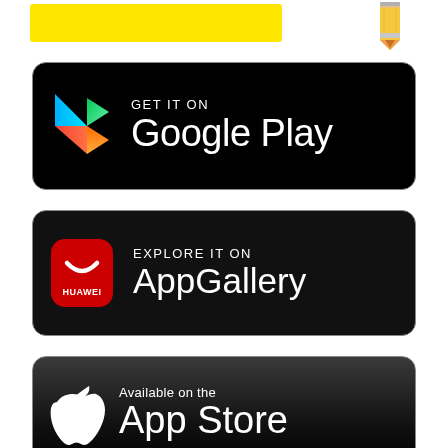[Figure (logo): Yellow highlighted bar with a pencil icon to the right]
[Figure (logo): GET IT ON Google Play badge - black rounded rectangle with Google Play triangle logo and text]
[Figure (logo): EXPLORE IT ON AppGallery badge - black rounded rectangle with Huawei red square logo and text]
[Figure (logo): Available on the App Store badge - black gradient rounded rectangle with Apple logo and text]